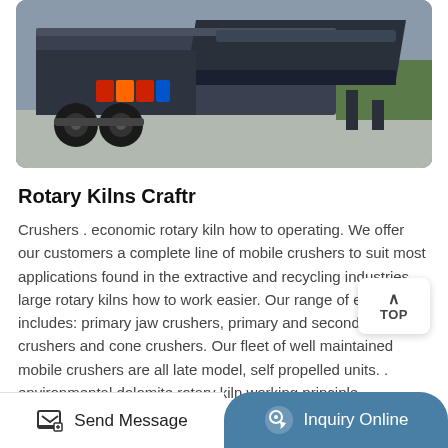[Figure (photo): A heavy industrial mobile crusher/conveyor machine on a flatbed trailer, dark steel construction, parked outdoors on concrete with green vegetation in background.]
Rotary Kilns Craftr
Crushers . economic rotary kiln how to operating. We offer our customers a complete line of mobile crushers to suit most applications found in the extractive and recycling industries . large rotary kilns how to work easier. Our range of equipment includes: primary jaw crushers, primary and secondary impact crushers and cone crushers. Our fleet of well maintained mobile crushers are all late model, self propelled units. . environmental dolomite rotary kiln working principle
More Details
Send Message | Inquiry Online